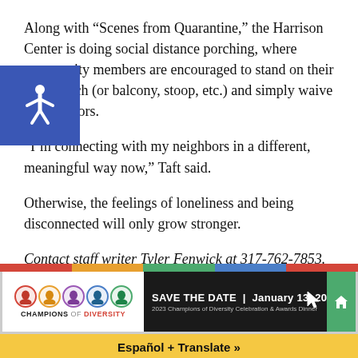Along with “Scenes from Quarantine,” the Harrison Center is doing social distance porching, where community members are encouraged to stand on their front porch (or balcony, stoop, etc.) and simply waive to neighbors.
“I’m connecting with my neighbors in a different, meaningful way now,” Taft said.
Otherwise, the feelings of loneliness and being disconnected will only grow stronger.
Contact staff writer Tyler Fenwick at 317-762-7853. Follow him on Twitter @Ty_Fenwick.
[Figure (other): Advertisement banner for Champions of Diversity event. Shows colorful circles with faces, text 'CHAMPIONS OF DIVERSITY', and 'SAVE THE DATE | January 13, 2023 - 2023 Champions of Diversity Celebration & Awards Dinner'. Yellow bar at bottom reads 'Español + Translate »'.]